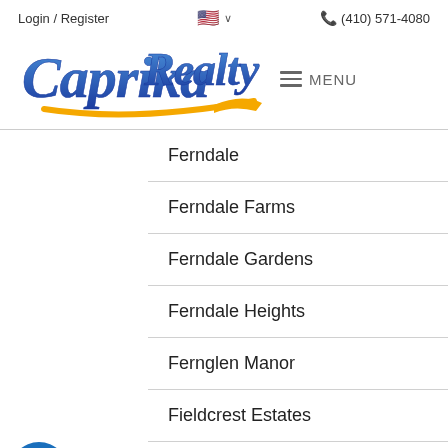Login / Register   🇺🇸 ∨   📞 (410) 571-4080
[Figure (logo): Caprika Realty logo with blue cursive text and yellow swoosh underline, plus hamburger menu icon and MENU text]
Ferndale
Ferndale Farms
Ferndale Gardens
Ferndale Heights
Fernglen Manor
Fieldcrest Estates
Fieldcrest Glen